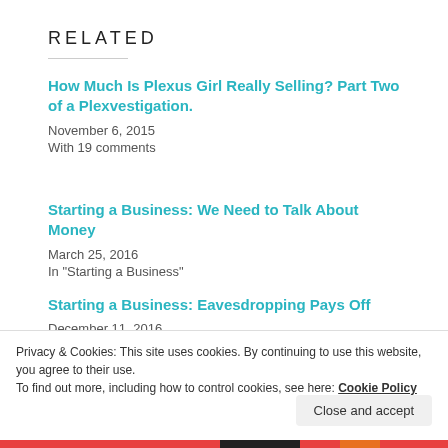RELATED
How Much Is Plexus Girl Really Selling? Part Two of a Plexvestigation.
November 6, 2015
With 19 comments
Starting a Business: We Need to Talk About Money
March 25, 2016
In "Starting a Business"
Starting a Business: Eavesdropping Pays Off
December 11, 2016
Privacy & Cookies: This site uses cookies. By continuing to use this website, you agree to their use.
To find out more, including how to control cookies, see here: Cookie Policy
Close and accept